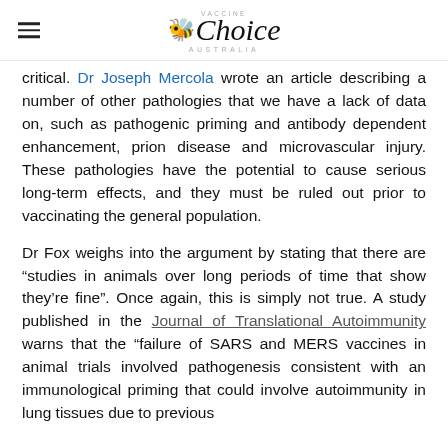Vaccine Choice Australia
critical. Dr Joseph Mercola wrote an article describing a number of other pathologies that we have a lack of data on, such as pathogenic priming and antibody dependent enhancement, prion disease and microvascular injury. These pathologies have the potential to cause serious long-term effects, and they must be ruled out prior to vaccinating the general population.
Dr Fox weighs into the argument by stating that there are “studies in animals over long periods of time that show they’re fine”. Once again, this is simply not true. A study published in the Journal of Translational Autoimmunity warns that the “failure of SARS and MERS vaccines in animal trials involved pathogenesis consistent with an immunological priming that could involve autoimmunity in lung tissues due to previous